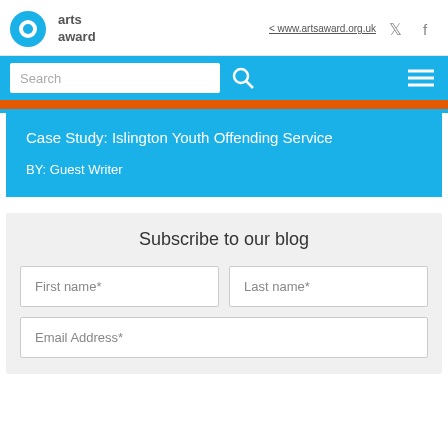arts award | < www.artsaward.org.uk
Case Study: Islington Youth Offending Service
BY: Guest Writer
Subscribe to our blog
First name* | Last name*
Email Address*